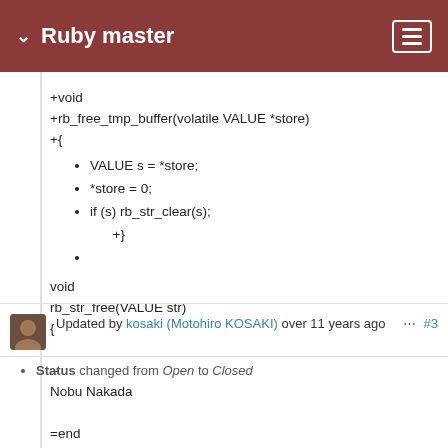Ruby master
+void
+rb_free_tmp_buffer(volatile VALUE *store)
+{
VALUE s = *store;
*store = 0;
if (s) rb_str_clear(s);
    +}
void
rb_str_free(VALUE str)
{

--
Nobu Nakada

=end
Updated by kosaki (Motohiro KOSAKI) over 11 years ago  ...  #3
Status changed from Open to Closed